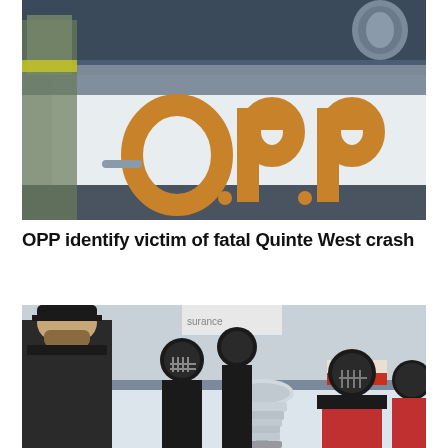[Figure (photo): Close-up of an OPP (Ontario Provincial Police) police car door showing the large gold 'O.P.P.' lettering and the OPP crest. A police officer in a high-visibility vest is visible in the background on the left.]
OPP identify victim of fatal Quinte West crash
[Figure (photo): Hockey rink scene showing a man in a black cap and jacket standing with young hockey players in black and red jerseys wearing helmets. They are gathered around the Stanley Cup trophy on the ice. A partial 'surance' sign is visible in the background along with a Canadian Tire advertisement.]